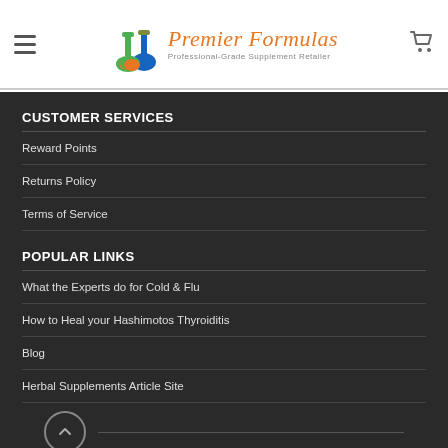Premier Formulas — Professional-Grade Supplement Retailer
CUSTOMER SERVICES
Reward Points
Returns Policy
Terms of Service
POPULAR LINKS
What the Experts do for Cold & Flu
How to Heal your Hashimotos Thyroiditis
Blog
Herbal Supplements Article Site
Legal Disclaimer